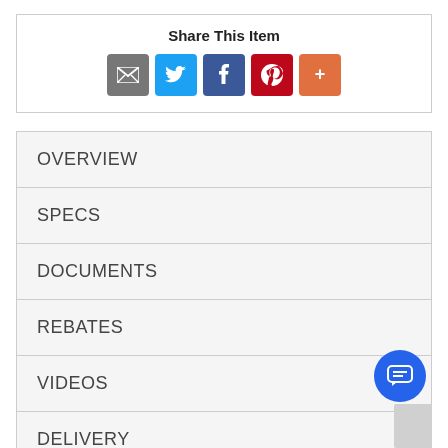Share This Item
[Figure (infographic): Social share icon buttons: Email (grey), Twitter (blue), Facebook (dark blue), Pinterest (red), More/Plus (orange)]
OVERVIEW
SPECS
DOCUMENTS
REBATES
VIDEOS
DELIVERY
WARRANTY